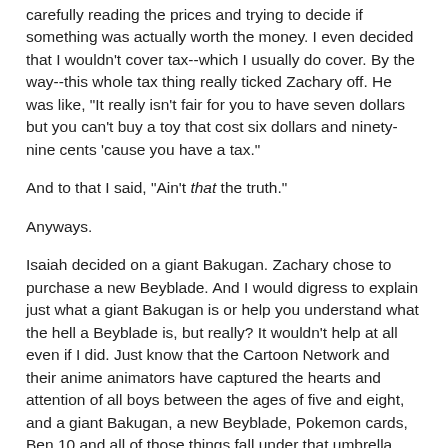carefully reading the prices and trying to decide if something was actually worth the money. I even decided that I wouldn't cover tax--which I usually do cover. By the way--this whole tax thing really ticked Zachary off. He was like, "It really isn't fair for you to have seven dollars but you can't buy a toy that cost six dollars and ninety-nine cents 'cause you have a tax."
And to that I said, "Ain't that the truth."
Anyways.
Isaiah decided on a giant Bakugan. Zachary chose to purchase a new Beyblade. And I would digress to explain just what a giant Bakugan is or help you understand what the hell a Beyblade is, but really? It wouldn't help at all even if I did. Just know that the Cartoon Network and their anime animators have captured the hearts and attention of all boys between the ages of five and eight, and a giant Bakugan, a new Beyblade, Pokemon cards, Ben 10 and all of those things fall under that umbrella.
So the Bakugan toy cost $17.99.  And the Beyblade cost